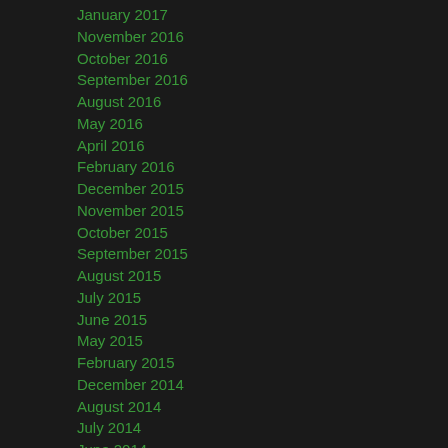January 2017
November 2016
October 2016
September 2016
August 2016
May 2016
April 2016
February 2016
December 2015
November 2015
October 2015
September 2015
August 2015
July 2015
June 2015
May 2015
February 2015
December 2014
August 2014
July 2014
June 2014
May 2014
March 2014
January 2014
November 2013